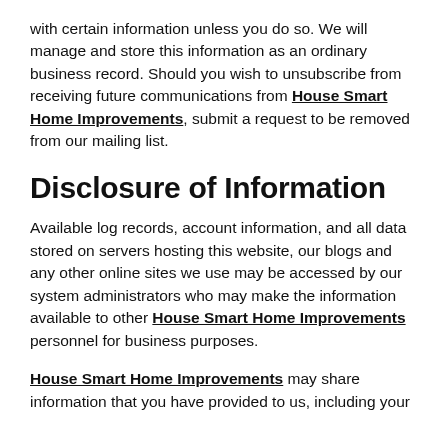with certain information unless you do so. We will manage and store this information as an ordinary business record. Should you wish to unsubscribe from receiving future communications from House Smart Home Improvements, submit a request to be removed from our mailing list.
Disclosure of Information
Available log records, account information, and all data stored on servers hosting this website, our blogs and any other online sites we use may be accessed by our system administrators who may make the information available to other House Smart Home Improvements personnel for business purposes.
House Smart Home Improvements may share information that you have provided to us, including your